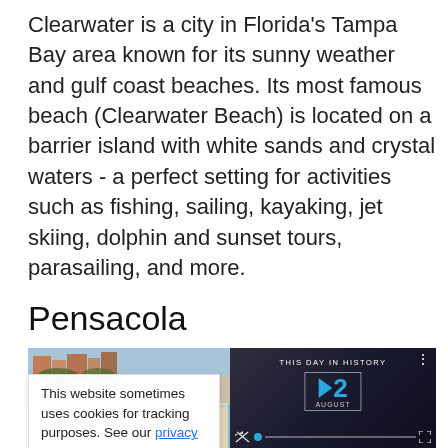Clearwater is a city in Florida's Tampa Bay area known for its sunny weather and gulf coast beaches. Its most famous beach (Clearwater Beach) is located on a barrier island with white sands and crystal waters - a perfect setting for activities such as fishing, sailing, kayaking, jet skiing, dolphin and sunset tours, parasailing, and more.
Pensacola
[Figure (photo): Beach scene photo showing people on a sandy beach with buildings and water visible. Partially overlaid by a video thumbnail showing 'THIS DAY IN HISTORY' with the date 12 AUGUST.]
This website sometimes uses cookies for tracking purposes. See our privacy policy for more details.